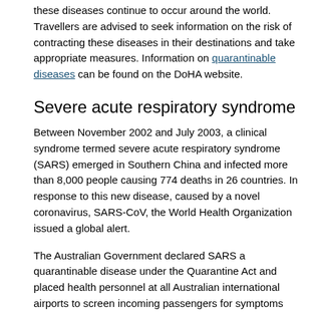these diseases continue to occur around the world. Travellers are advised to seek information on the risk of contracting these diseases in their destinations and take appropriate measures. Information on quarantinable diseases can be found on the DoHA website.
Severe acute respiratory syndrome
Between November 2002 and July 2003, a clinical syndrome termed severe acute respiratory syndrome (SARS) emerged in Southern China and infected more than 8,000 people causing 774 deaths in 26 countries. In response to this new disease, caused by a novel coronavirus, SARS-CoV, the World Health Organization issued a global alert.
The Australian Government declared SARS a quarantinable disease under the Quarantine Act and placed health personnel at all Australian international airports to screen incoming passengers for symptoms associated with SARS. International travellers were provided with information about SARS and travel advisories were issued through the Department of Foreign Affairs and Trade. The Australian Government in collaboration with the Communicable Disease Network Australia issued infection control guidelines and advice about SARS to hospitals, health care workers, general practitioners, border control and airline staff and staff at Australian seaports.
More than 100 people were investigated for possible SARS infection of